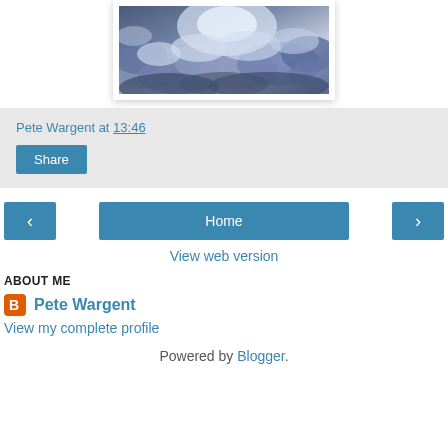[Figure (photo): Dramatic stormy sky with dark blue-grey clouds and bright white light breaking through, photo in white frame]
Pete Wargent at 13:46
Share
< Home >
View web version
ABOUT ME
Pete Wargent
View my complete profile
Powered by Blogger.